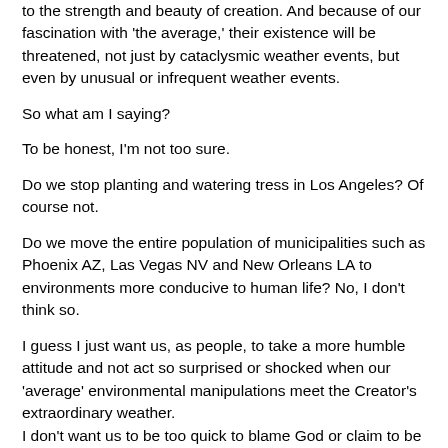to the strength and beauty of creation.  And because of our fascination with 'the average,' their existence will be threatened, not just by cataclysmic weather events, but even by unusual or infrequent weather events.
So what am I saying?
To be honest, I'm not too sure.
Do we stop planting and watering tress in Los Angeles? Of course not.
Do we move the entire population of municipalities such as Phoenix AZ, Las Vegas NV and New Orleans LA to environments more conducive to human life? No, I don't think so.
I guess I just want us, as people, to take a more humble attitude and not act so surprised or shocked when our 'average' environmental manipulations meet the Creator's extraordinary weather.
I don't want us to be too quick to blame God or claim to be